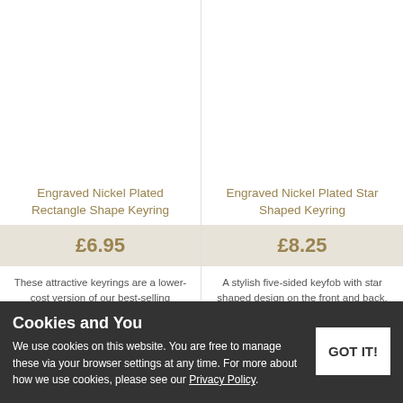Engraved Nickel Plated Rectangle Shape Keyring
£6.95
These attractive keyrings are a lower-cost version of our best-selling rectangular silver plated...
★★★★★ (12)
Engraved Nickel Plated Star Shaped Keyring
£8.25
A stylish five-sided keyfob with star shaped design on the front and back. Featuring a sturdy...
Cookies and You
We use cookies on this website. You are free to manage these via your browser settings at any time. For more about how we use cookies, please see our Privacy Policy.